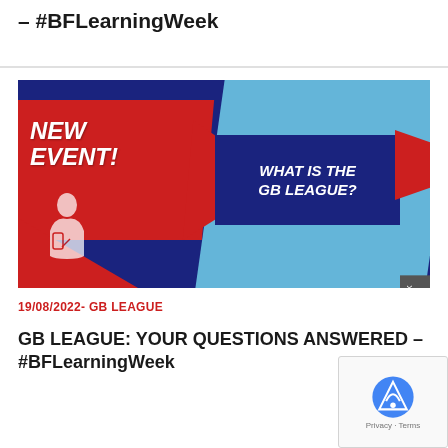– #BFLearningWeek
[Figure (illustration): Promotional banner image with dark navy blue background. Left side shows a red diagonal banner with bold white italic text 'NEW EVENT!'. Center-right shows a dark navy box with white bold italic text 'WHAT IS THE GB LEAGUE?'. Background includes light blue geometric shapes. Bottom-left has a white silhouette of a person with a phone. Right edge has a red accent stripe.]
19/08/2022- GB LEAGUE
GB LEAGUE: YOUR QUESTIONS ANSWERED – #BFLearningWeek